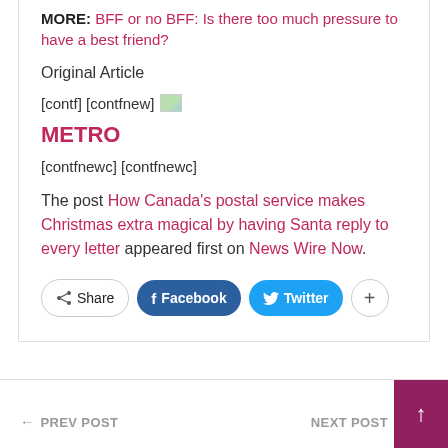MORE: BFF or no BFF: Is there too much pressure to have a best friend?
Original Article
[contf] [contfnew]
METRO
[contfnewc] [contfnewc]
The post How Canada's postal service makes Christmas extra magical by having Santa reply to every letter appeared first on News Wire Now.
[Figure (infographic): Share buttons row: Share, Facebook, Twitter, plus button]
← PREV POST   NEXT POST